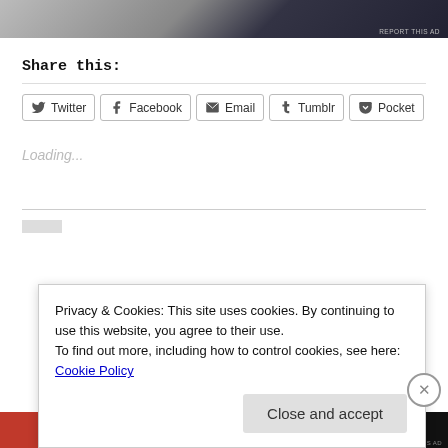[Figure (screenshot): Top ad strip with partial image visible at top of page]
REPORT THIS AD
Share this:
Twitter  Facebook  Email  Tumblr  Pocket
Loading...
Privacy & Cookies: This site uses cookies. By continuing to use this website, you agree to their use.
To find out more, including how to control cookies, see here: Cookie Policy
Close and accept